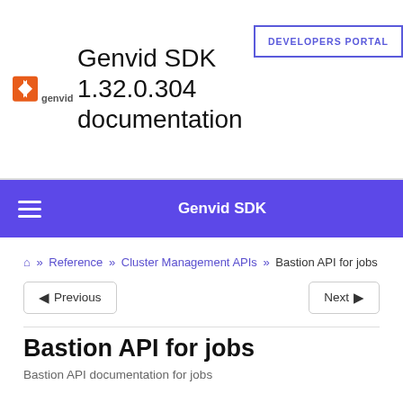Genvid SDK 1.32.0.304 documentation
DEVELOPERS PORTAL
Genvid SDK
🏠 » Reference » Cluster Management APIs » Bastion API for jobs
Previous   Next
Bastion API for jobs
Bastion API documentation for jobs